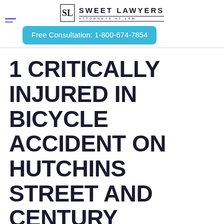[Figure (logo): Sweet Lawyers Attorneys at Law logo with SL monogram icon]
Free Consultation: 1-800-674-7854
1 CRITICALLY INJURED IN BICYCLE ACCIDENT ON HUTCHINS STREET AND CENTURY BOULEVARD [LODI, CA]